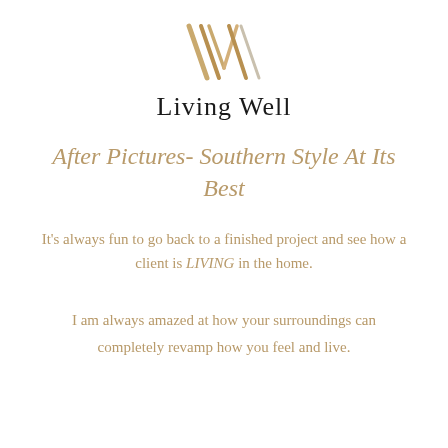[Figure (logo): Living Well brand logo — stylized overlapping W lettermark in gold/tan above the text 'Living Well' in serif font]
After Pictures- Southern Style At Its Best
It's always fun to go back to a finished project and see how a client is LIVING in the home.
I am always amazed at how your surroundings can completely revamp how you feel and live.